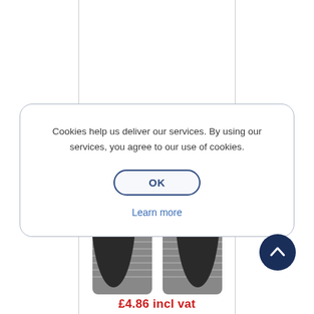[Figure (photo): Two black and grey work gloves (nitrile/rubber coated) displayed upright with fingers pointing up, shown against a white background with vertical blue-grey border lines on left and right sides.]
Cookies help us deliver our services. By using our services, you agree to our use of cookies.
OK
Learn more
[Figure (other): Dark navy circular back-to-top button with a white upward chevron arrow icon.]
£4.86 incl vat